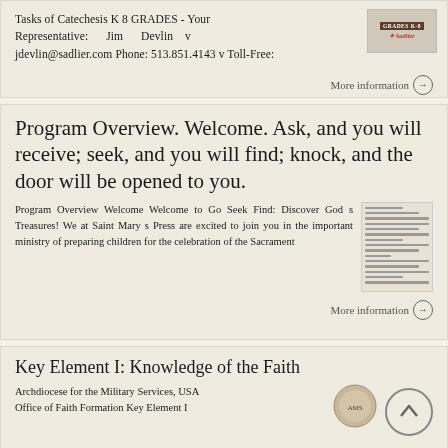Tasks of Catechesis K 8 GRADES - Your Representative: Jim Devlin v jdevlin@sadlier.com Phone: 513.851.4143 v Toll-Free:
[Figure (logo): Sadlier logo with GRADES K-8 badge]
More information →
Program Overview. Welcome. Ask, and you will receive; seek, and you will find; knock, and the door will be opened to you.
Program Overview Welcome Welcome to Go Seek Find: Discover God s Treasures! We at Saint Mary s Press are excited to join you in the important ministry of preparing children for the celebration of the Sacrament
[Figure (screenshot): Thumbnail image of a program overview document page]
More information →
Key Element I: Knowledge of the Faith
Archdiocese for the Military Services, USA Office of Faith Formation Key Element I